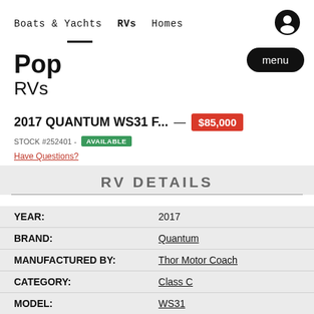Boats & Yachts   RVs   Homes
Pop RVs
2017 QUANTUM WS31 F... — $85,000
STOCK #252401 - AVAILABLE
Have Questions?
RV DETAILS
| Field | Value |
| --- | --- |
| YEAR: | 2017 |
| BRAND: | Quantum |
| MANUFACTURED BY: | Thor Motor Coach |
| CATEGORY: | Class C |
| MODEL: | WS31 |
| # SLIDES: | 1 |